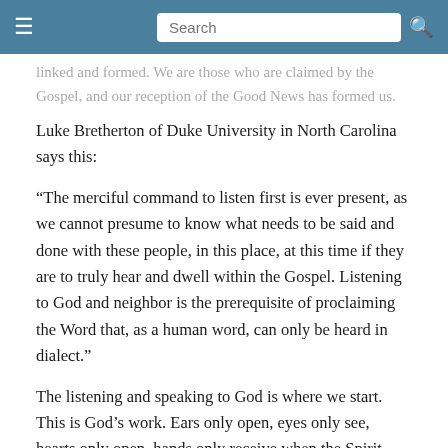Search
...linked and formed. We are those who are claimed by the Gospel, and our reception of the Good News has formed us.
Luke Bretherton of Duke University in North Carolina says this:
“The merciful command to listen first is ever present, as we cannot presume to know what needs to be said and done with these people, in this place, at this time if they are to truly hear and dwell within the Gospel. Listening to God and neighbor is the prerequisite of proclaiming the Word that, as a human word, can only be heard in dialect.”
The listening and speaking to God is where we start. This is God’s work. Ears only open, eyes only see, hearts only open, hands only receive when the Spirit works. At my